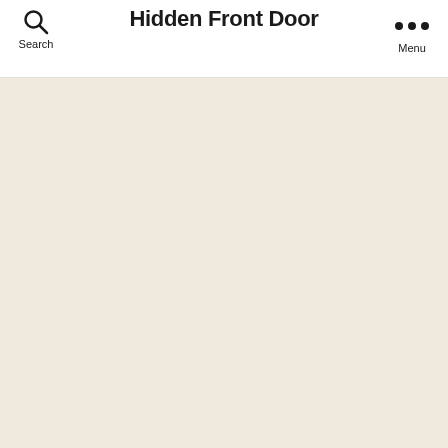Hidden Front Door
[Figure (screenshot): Beige/cream colored empty content area below the navigation bar]